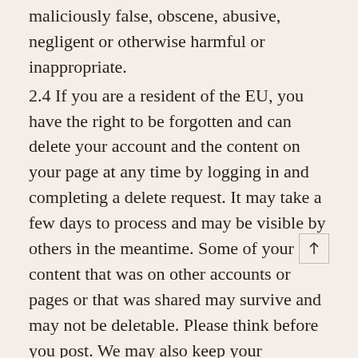maliciously false, obscene, abusive, negligent or otherwise harmful or inappropriate.
2.4 If you are a resident of the EU, you have the right to be forgotten and can delete your account and the content on your page at any time by logging in and completing a delete request. It may take a few days to process and may be visible by others in the meantime. Some of your content that was on other accounts or pages or that was shared may survive and may not be deletable. Please think before you post. We may also keep your registration information for as long as we need to do to run our business and to follow these rules.
2.5 You are responsible for anything you do on Site under your login, including things you post and comment on. You are responsible for making sure the stuff you post belongs to you, including any music